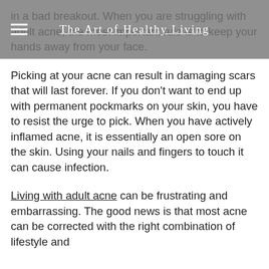The Art of Healthy Living
in a bad breakout. When you are struggling with adult acne, the most important rule is to keep your hands away from your face.
Picking at your acne can result in damaging scars that will last forever. If you don't want to end up with permanent pockmarks on your skin, you have to resist the urge to pick. When you have actively inflamed acne, it is essentially an open sore on the skin. Using your nails and fingers to touch it can cause infection.
Living with adult acne can be frustrating and embarrassing. The good news is that most acne can be corrected with the right combination of lifestyle and